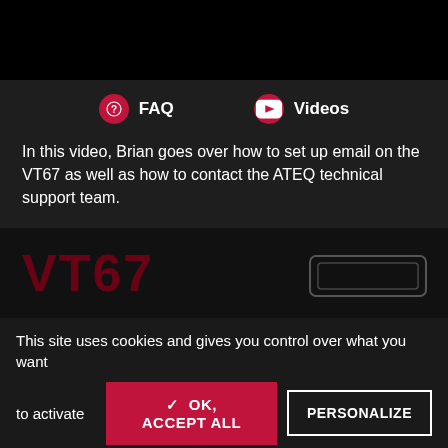FAQ   Videos
In this video, Brian goes over how to set up email on the VT67 as well as how to contact the ATEQ technical support team.
[Figure (screenshot): Dark thumbnail image showing 'VT67' text in dark red and a device shape outline on the right]
This site uses cookies and gives you control over what you want to activate
✓ OK, ACCEPT ALL   PERSONALIZE